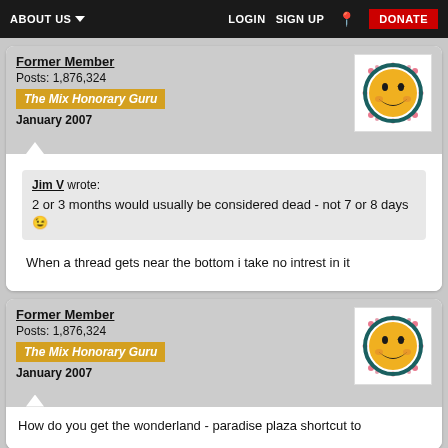ABOUT US  LOGIN  SIGN UP  DONATE
Former Member
Posts: 1,876,324
The Mix Honorary Guru
January 2007
Jim V wrote:
2 or 3 months would usually be considered dead - not 7 or 8 days
When a thread gets near the bottom i take no intrest in it
Former Member
Posts: 1,876,324
The Mix Honorary Guru
January 2007
How do you get the wonderland - paradise plaza shortcut to